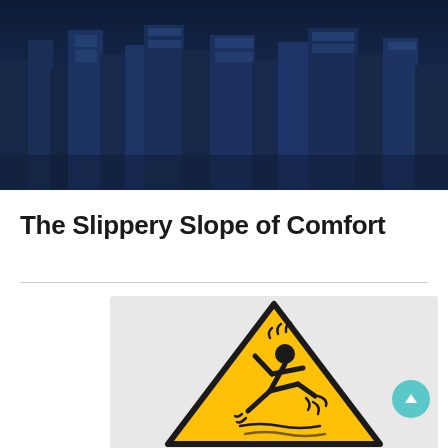[Figure (photo): Dark navy blue cityscape/skyline background image at the top of the page, showing city buildings at night or dusk.]
The Slippery Slope of Comfort
[Figure (illustration): Warning sign illustration on a light gray background — a yellow triangular caution sign containing a black stick figure slipping and falling, with motion lines indicating impact.]